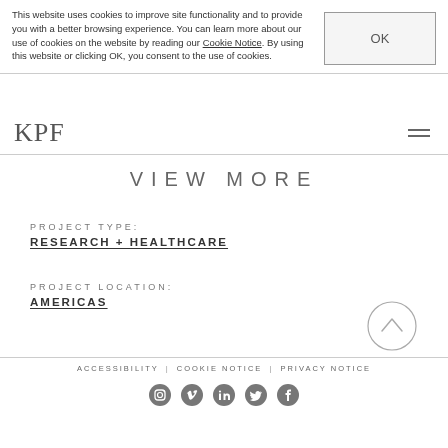This website uses cookies to improve site functionality and to provide you with a better browsing experience. You can learn more about our use of cookies on the website by reading our Cookie Notice. By using this website or clicking OK, you consent to the use of cookies.
KPF
VIEW MORE
PROJECT TYPE:
RESEARCH + HEALTHCARE
PROJECT LOCATION:
AMERICAS
ACCESSIBILITY | COOKIE NOTICE | PRIVACY NOTICE